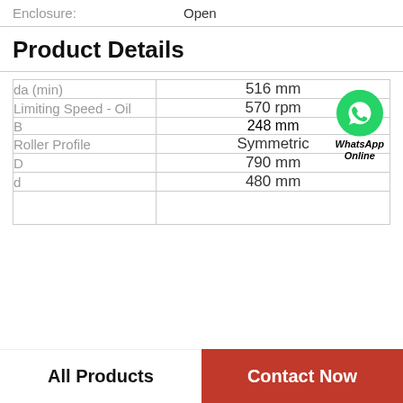Enclosure: Open
Product Details
| Property | Value |
| --- | --- |
| da (min) | 516 mm |
| Limiting Speed - Oil | 570 rpm |
| B | 248 mm |
| Roller Profile | Symmetric |
| D | 790 mm |
| d | 480 mm |
|  |  |
[Figure (logo): WhatsApp Online green icon with text 'WhatsApp Online']
All Products
Contact Now